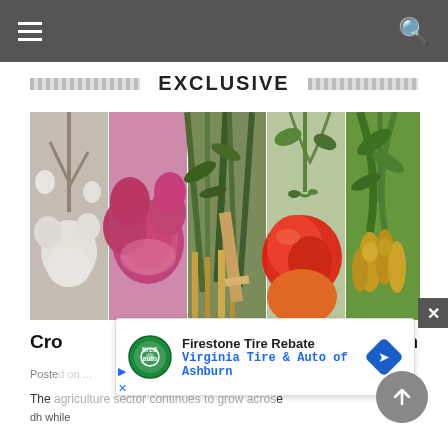Navigation bar with hamburger menu and search icon
EXCLUSIVE
[Figure (photo): Five-panel horizontal image strip showing agricultural crops: cotton bolls, red/purple onions, green stalks/sugarcane, red tomatoes on vine, green corn/rice plant with grain]
Crop... Sindh
Poste...
The...while